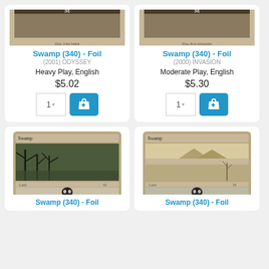[Figure (screenshot): Product listing grid of Magic: The Gathering Swamp cards for sale, showing card images, titles, set info, condition, price, and add to cart buttons.]
Swamp (340) - Foil
(2001) ODYSSEY
Heavy Play, English
$5.02
Swamp (340) - Foil
(2000) INVASION
Moderate Play, English
$5.30
[Figure (photo): Magic: The Gathering Swamp card (Odyssey) showing dark swamp art with skull symbol]
[Figure (photo): Magic: The Gathering Swamp card (Invasion) showing open landscape art with skull symbol]
Swamp (340) - Foil
Swamp (340) - Foil